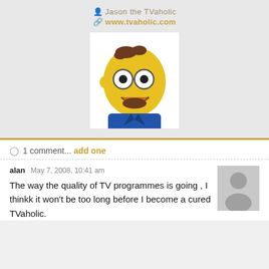Jason the TVaholic
www.tvaholic.com
[Figure (illustration): Cartoon avatar of a bald man with glasses and brown beard, wearing a blue shirt, drawn in The Simpsons style]
1 comment... add one
alan  May 7, 2008, 10:41 am
The way the quality of TV programmes is going , I thinkk it won't be too long before I become a cured TVaholic.
[Figure (illustration): Generic grey silhouette avatar placeholder for anonymous commenter]